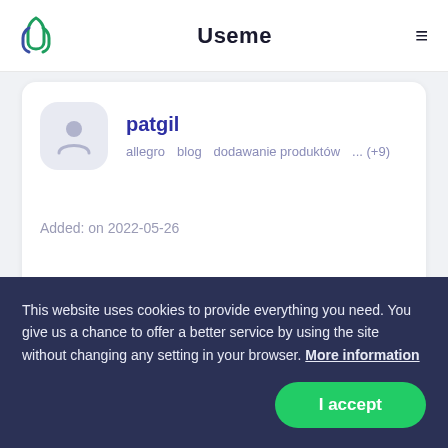Useme
[Figure (screenshot): User profile card for 'patgil' with avatar placeholder, tags: allegro, blog, dodawanie produktów, ... (+9), and Added: on 2022-05-26]
Added:  on 2022-05-26
[Figure (photo): Partial second user card with circular avatar photo]
This website uses cookies to provide everything you need. You give us a chance to offer a better service by using the site without changing any setting in your browser. More information
I accept